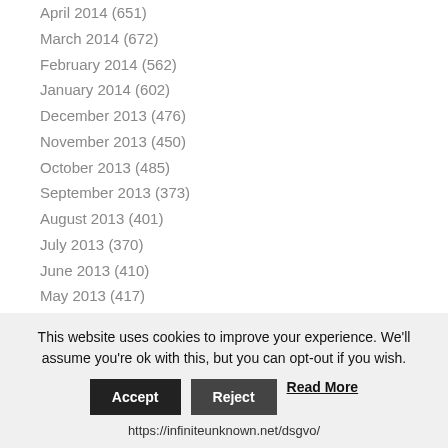April 2014 (651)
March 2014 (672)
February 2014 (562)
January 2014 (602)
December 2013 (476)
November 2013 (450)
October 2013 (485)
September 2013 (373)
August 2013 (401)
July 2013 (370)
June 2013 (410)
May 2013 (417)
April 2013 (350)
March 2013 (395)
February 2013 (343)
This website uses cookies to improve your experience. We'll assume you're ok with this, but you can opt-out if you wish.
Accept | Reject | Read More
https://infiniteunknown.net/dsgvo/